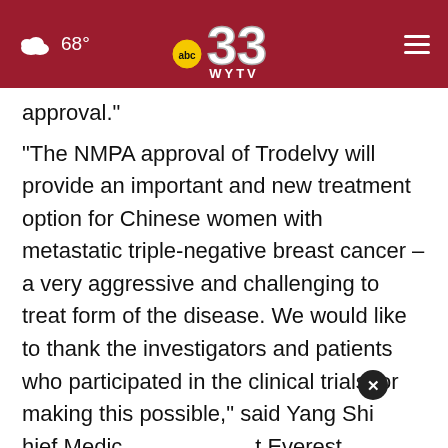68° ABC 33 WYTV
approval."
"The NMPA approval of Trodelvy will provide an important and new treatment option for Chinese women with metastatic triple-negative breast cancer – a very aggressive and challenging to treat form of the disease. We would like to thank the investigators and patients who participated in the clinical trials for making this possible," said Yang Shi, Chief Medical Officer, Oncology at Everest Medicines. "We will continue to work
[Figure (other): Ad banner for THESHELTERPETPROJECT.ORG with close button overlay]